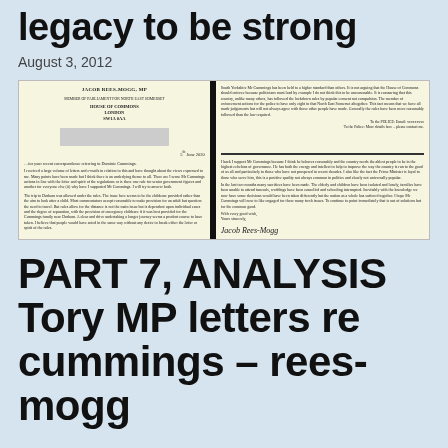legacy to be strong
August 3, 2012
[Figure (photo): Scanned image of two letters on House of Commons letterhead signed by Jacob Rees-Mogg MP, written in small text discussing Dominic Cummings and related matters. The letters are side by side with a dark vertical divider.]
PART 7, ANALYSIS Tory MP letters re cummings – rees-mogg